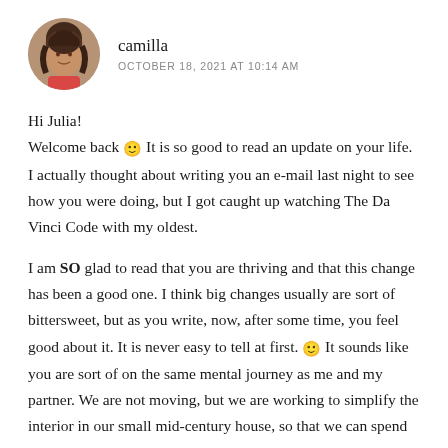[Figure (photo): Circular avatar photo of a person with braided hair, warm tones]
camilla
OCTOBER 18, 2021 AT 10:14 AM
Hi Julia!
Welcome back 🙂 It is so good to read an update on your life. I actually thought about writing you an e-mail last night to see how you were doing, but I got caught up watching The Da Vinci Code with my oldest.
I am SO glad to read that you are thriving and that this change has been a good one. I think big changes usually are sort of bittersweet, but as you write, now, after some time, you feel good about it. It is never easy to tell at first. 🙂 It sounds like you are sort of on the same mental journey as me and my partner. We are not moving, but we are working to simplify the interior in our small mid-century house, so that we can spend